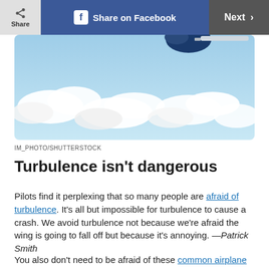Share | Share on Facebook | Next
[Figure (photo): Aerial photo of airplane engine and wing above clouds in blue sky]
IM_PHOTO/SHUTTERSTOCK
Turbulence isn't dangerous
Pilots find it perplexing that so many people are afraid of turbulence. It's all but impossible for turbulence to cause a crash. We avoid turbulence not because we're afraid the wing is going to fall off but because it's annoying. —Patrick Smith
You also don't need to be afraid of these common airplane sounds